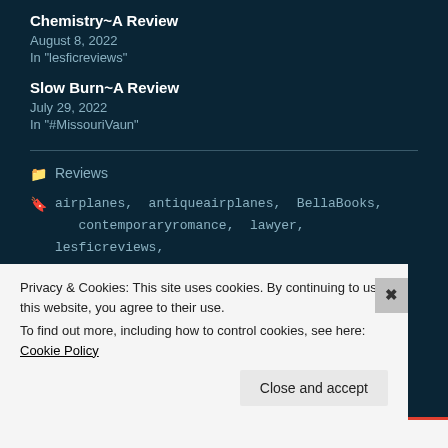Chemistry~A Review
August 8, 2022
In "lesficreviews"
Slow Burn~A Review
July 29, 2022
In "#MissouriVaun"
Reviews
airplanes, antiqueairplanes, BellaBooks, contemporaryromance, lawyer, lesficreviews, LGBT, militaryvet, mysteryintrigue,
Privacy & Cookies: This site uses cookies. By continuing to use this website, you agree to their use.
To find out more, including how to control cookies, see here: Cookie Policy